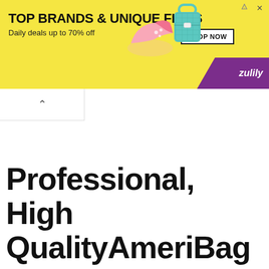[Figure (other): Zulily advertisement banner: yellow background with text 'TOP BRANDS & UNIQUE FINDS', 'Daily deals up to 70% off', a SHOP NOW button, illustrations of a pink shoe and teal handbag, and a purple corner with 'zulily' branding.]
Professional, High QualityAmeriBag Repairs, Renewals & Service